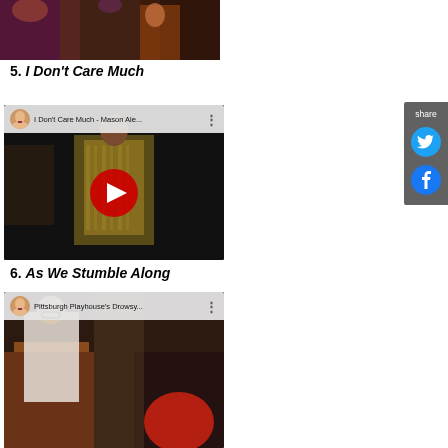[Figure (screenshot): Top portion of a YouTube video thumbnail showing a performer on stage, cropped at the top]
5. I Don't Care Much
[Figure (screenshot): YouTube video embed: 'I Don't Care Much - Mason Ale...' with a performer in a gold/black costume, red play button overlay]
6. As We Stumble Along
[Figure (screenshot): YouTube video embed: 'Pittsburgh Playhouse's Drowsy...' showing a performer at a podium, partially visible]
[Figure (screenshot): Share panel sidebar with Twitter and Facebook icons]